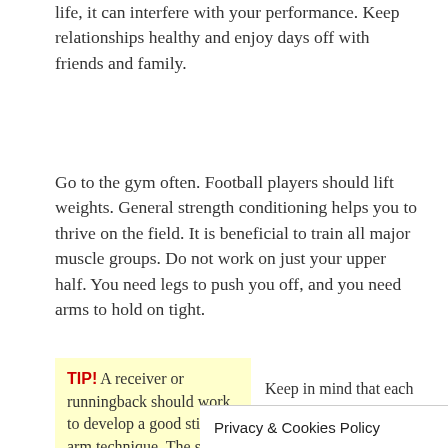life, it can interfere with your performance. Keep relationships healthy and enjoy days off with friends and family.
Go to the gym often. Football players should lift weights. General strength conditioning helps you to thrive on the field. It is beneficial to train all major muscle groups. Do not work on just your upper half. You need legs to push you off, and you need arms to hold on tight.
TIP! A receiver or runningback should work to develop a good stiff arm technique. The stiff arm works great to buy some yards and time, along with
Keep in mind that each time you're sprinting across the field or getting a football, your mind is telling you the actions to make. Psychology is a very important aspect of the sport of football. To be as successful
Privacy & Cookies Policy